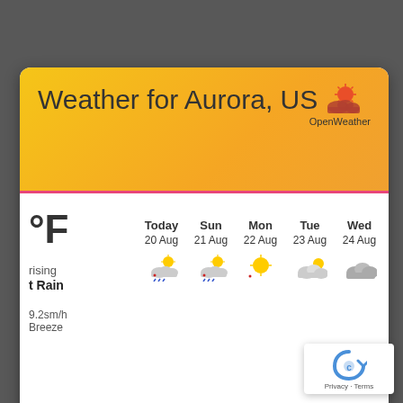Weather for Aurora, US
[Figure (logo): OpenWeather logo with sun and clouds icon and text 'OpenWeather']
| Today 20 Aug | Sun 21 Aug | Mon 22 Aug | Tue 23 Aug | Wed 24 Aug | Thu 25 Aug | Fri 26 Aug |
| --- | --- | --- | --- | --- | --- | --- |
| 🌧☀ | 🌧☀ | ☀ | ⛅ | ☁ | 🌧☀ | 🌧☀ |
°F
rising
Light Rain
9.2sm/h
Breeze
[Figure (logo): Google reCAPTCHA badge with Privacy and Terms links]